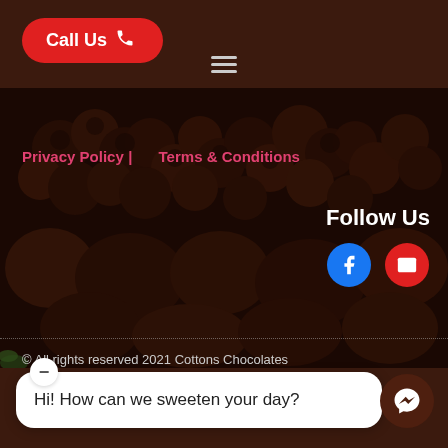[Figure (screenshot): Dark brown header bar with a red 'Call Us' button with phone icon on the left, and a hamburger menu icon (three horizontal lines) below it centered.]
[Figure (photo): Close-up photo of chocolate truffles/bonbons piled together, dark brown tones.]
Privacy Policy | Terms & Conditions
Follow Us
[Figure (other): Social media icons: Facebook (blue circle) and Email (red circle) buttons side by side.]
© All rights reserved 2021 Cottons Chocolates
Hi! How can we sweeten your day?